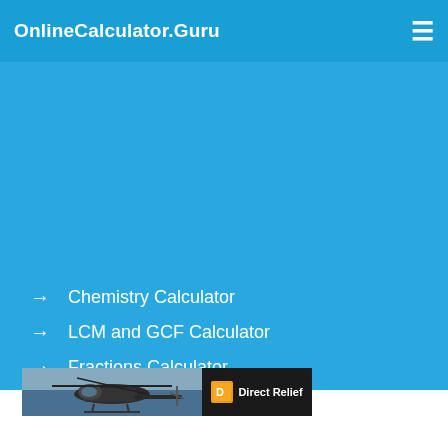OnlineCalculator.Guru
Chemistry Calculator
LCM and GCF Calculator
Fractions Calculator
Polynomials Calculator
Percentage Calculator
[Figure (photo): Advertisement banner showing a military helicopter photo alongside Direct Relief charity logo on dark background]